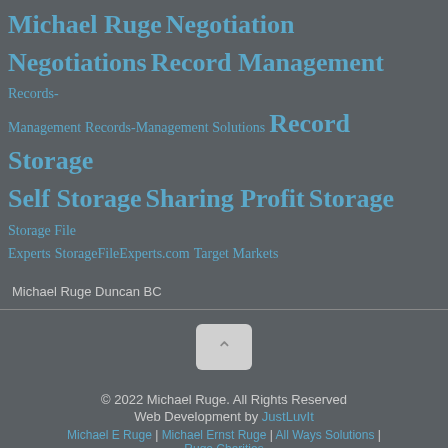Michael Ruge Negotiation Negotiations Record Management Records-Management Records-Management Solutions Record Storage Self Storage Sharing Profit Storage Storage File Experts StorageFileExperts.com Target Markets
Michael Ruge Duncan BC
[Figure (other): Back to top button with chevron up arrow]
© 2022 Michael Ruge. All Rights Reserved
Web Development by JustLuvIt
Michael E Ruge | Michael Ernst Ruge | All Ways Solutions | Ruge Charities
Social media icons: Facebook, Twitter, YouTube, LinkedIn, Instagram, RSS